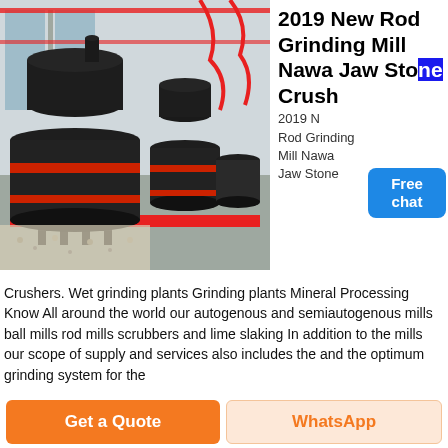[Figure (photo): Industrial grinding mill / rod mill machines displayed in a large factory hall with red decorations. Large black cylindrical grinding mills on red base platforms, multiple units visible in a row.]
2019 New Rod Grinding Mill Nawa Jaw Stone Crushers.
2019 New Rod Grinding Mill Nawa Jaw Stone Crushers. Wet grinding plants Grinding plants Mineral Processing Know All around the world our autogenous and semiautogenous mills ball mills rod mills scrubbers and lime slaking In addition to the mills our scope of supply and services also includes the and the optimum grinding system for the
Get a Quote
WhatsApp